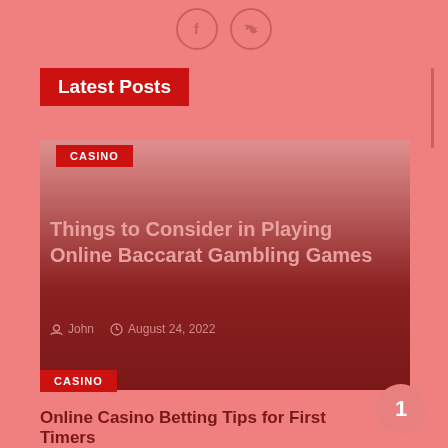[Figure (other): Social media icons: Facebook (f) and Twitter (bird) in circular outlines]
Latest Posts
[Figure (photo): Article card with dark red gradient background]
CASINO
Things to Consider in Playing Online Baccarat Gambling Games
John  August 24, 2022
CASINO
Online Casino Betting Tips for First Timers